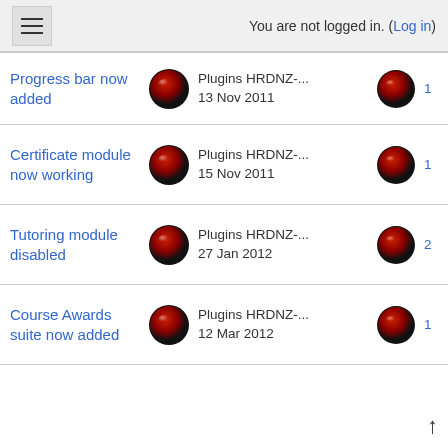You are not logged in. (Log in)
Progress bar now added | Plugins HRDNZ-... | 13 Nov 2011
Certificate module now working | Plugins HRDNZ-... | 15 Nov 2011
Tutoring module disabled | Plugins HRDNZ-... | 27 Jan 2012
Course Awards suite now added | Plugins HRDNZ-... | 12 Mar 2012